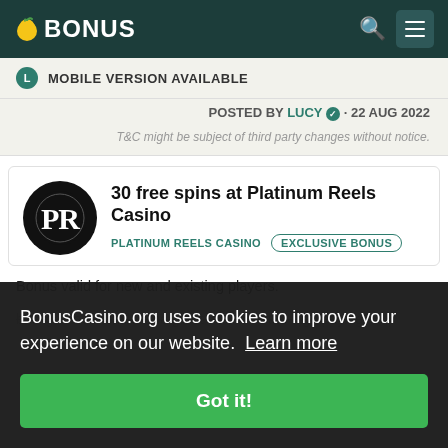BONUS — navigation bar with logo, search and menu icons
MOBILE VERSION AVAILABLE
POSTED BY LUCY · 22 AUG 2022
T&C might be subject of third party changes without notice.
30 free spins at Platinum Reels Casino
PLATINUM REELS CASINO   EXCLUSIVE BONUS
Bonus valid for new and existing players.
BonusCasino.org uses cookies to improve your experience on our website. Learn more Got it!
background. Achilles the great warrior is the high paying sign, while Helen, Paris, and Hector are skilfully utilised as